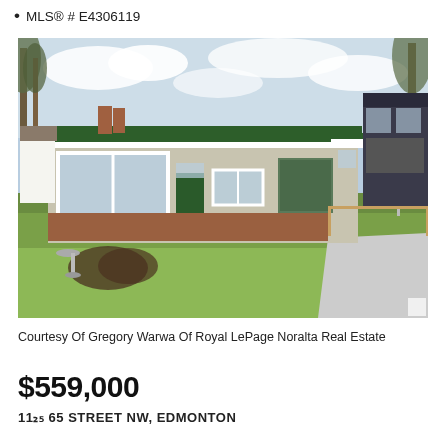MLS® # E4306119
[Figure (photo): Exterior photo of a single-storey ranch-style house with green roof, beige stucco walls, large front windows, brick accent base, and a well-manicured lawn. A birdbath and heart-shaped garden bed are visible in the foreground. A modern two-storey house is visible to the right in the background.]
Courtesy Of Gregory Warwa Of Royal LePage Noralta Real Estate
$559,000
11.25 65 STREET NW, EDMONTON